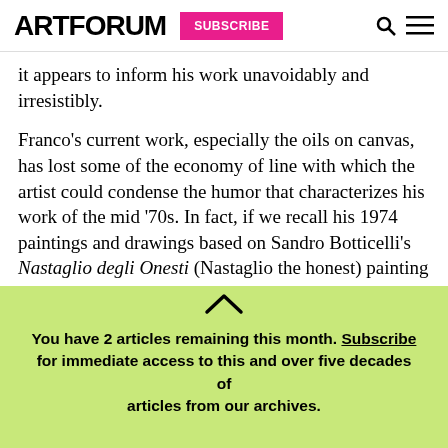ARTFORUM | SUBSCRIBE
it appears to inform his work unavoidably and irresistibly.
Franco’s current work, especially the oils on canvas, has lost some of the economy of line with which the artist could condense the humor that characterizes his work of the mid ‘70s. In fact, if we recall his 1974 paintings and drawings based on Sandro Botticelli’s Nastaglio degli Onesti (Nastaglio the honest) painting in the Prado, or pieces such as O Mago do
You have 2 articles remaining this month. Subscribe for immediate access to this and over five decades of articles from our archives.